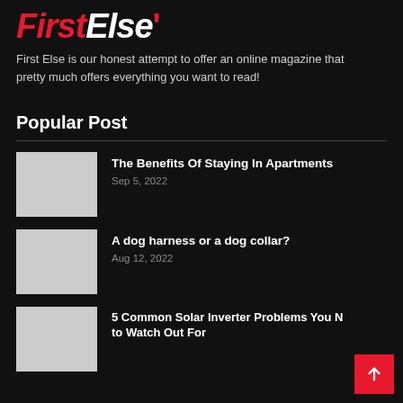FirstElse
First Else is our honest attempt to offer an online magazine that pretty much offers everything you want to read!
Popular Post
The Benefits Of Staying In Apartments
Sep 5, 2022
A dog harness or a dog collar?
Aug 12, 2022
5 Common Solar Inverter Problems You Need to Watch Out For